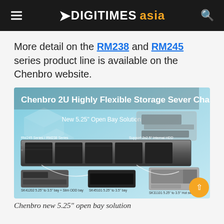DIGITIMES asia
More detail on the RM238 and RM245 series product line is available on the Chenbro website.
[Figure (photo): Chenbro 2U Highly Flexible Storage Server Chassis advertisement showing chassis and accessories: RM245 Series / RM238 Series, New 5.25" Open Bay Solution, Support 2x2.5" Internal HDD, SK41202 5.25" to 3.5" bay + Slim ODD bay, SK45101 5.25" to 3.5" bay, SK31101 5.25" to 3.5" Hot swap bay]
Chenbro new 5.25" open bay solution